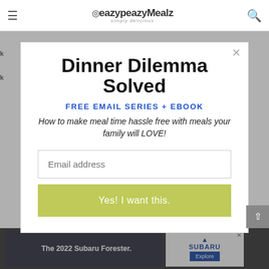eazypeazyMealz simply delicious
Dinner Dilemma Solved
FREE EMAIL SERIES + EBOOK
How to make meal time hassle free with meals your family will LOVE!
Email address
Yes! I want this.
[Figure (screenshot): Advertisement for The 2022 Subaru Forester with car interior image and Subaru logo with Explore button]